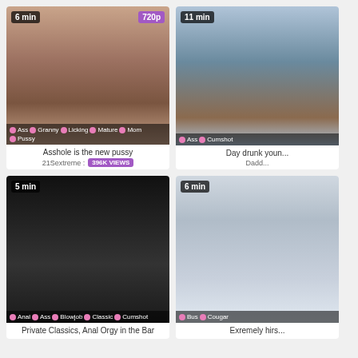[Figure (screenshot): Video thumbnail for 'Asshole is the new pussy', 6 min, 720p, tags: Ass, Granny, Licking, Mature, Mom, Pussy]
Asshole is the new pussy
21Sextreme : 396K VIEWS
[Figure (screenshot): Video thumbnail for 'Day drunk youn...', 11 min, tags: Ass, Cumshot]
Day drunk youn...
Dadd...
[Figure (screenshot): Video thumbnail for 'Private Classics, Anal Orgy in the Bar', 5 min, tags: Anal, Ass, Blowjob, Classic, Cumshot]
Private Classics, Anal Orgy in the Bar
[Figure (screenshot): Video thumbnail for 'Exremely hirs...', 6 min, tags: Bus, Cougar]
Exremely hirs...